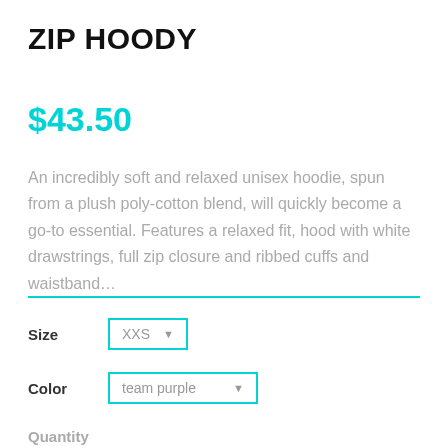ZIP HOODY
$43.50
An incredibly soft and relaxed unisex hoodie, spun from a plush poly-cotton blend, will quickly become a go-to essential. Features a relaxed fit, hood with white drawstrings, full zip closure and ribbed cuffs and waistband…
Size  XXS ▼
Color  team purple ▼
Quantity